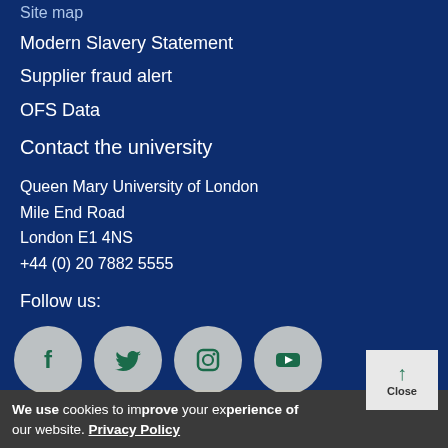Site map
Modern Slavery Statement
Supplier fraud alert
OFS Data
Contact the university
Queen Mary University of London
Mile End Road
London E1 4NS
+44 (0) 20 7882 5555
Follow us:
[Figure (illustration): Four social media icon circles: Facebook (f), Twitter (bird), Instagram (camera), YouTube (play button)]
We use cookies to improve your experience of our website. Privacy Policy